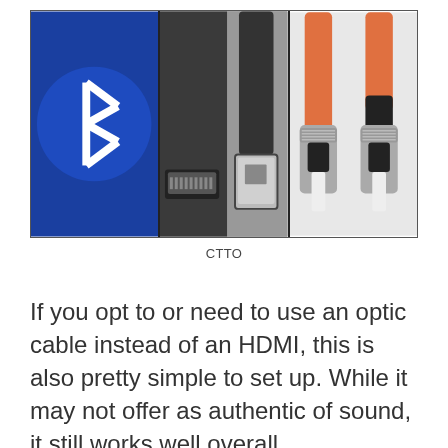[Figure (photo): Three-panel image: left panel shows a white Bluetooth logo on a dark blue circular background; center panel shows a black HDMI cable connector and a USB-A connector side by side; right panel shows two orange fiber optic cable connectors with silver metal ferrules on a light background.]
CTTO
If you opt to or need to use an optic cable instead of an HDMI, this is also pretty simple to set up. While it may not offer as authentic of sound, it still works well overall.